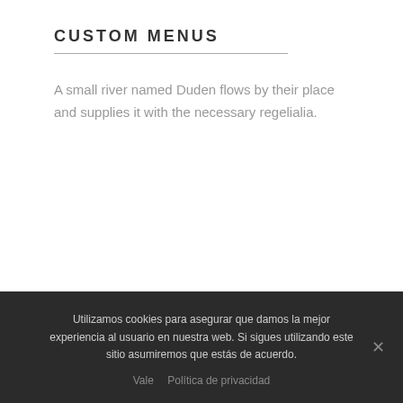CUSTOM MENUS
A small river named Duden flows by their place and supplies it with the necessary regelialia.
Utilizamos cookies para asegurar que damos la mejor experiencia al usuario en nuestra web. Si sigues utilizando este sitio asumiremos que estás de acuerdo.
Vale   Política de privacidad